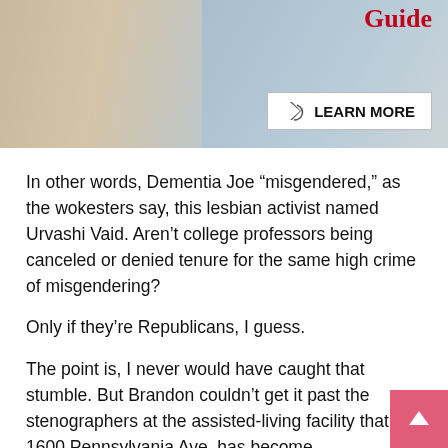[Figure (photo): Partial advertisement banner showing people and 'Guide' text in red with a 'LEARN MORE' button]
In other words, Dementia Joe “misgendered,” as the wokesters say, this lesbian activist named Urvashi Vaid. Aren’t college professors being canceled or denied tenure for the same high crime of misgendering?
Only if they’re Republicans, I guess.
The point is, I never would have caught that stumble. But Brandon couldn’t get it past the stenographers at the assisted-living facility that 1600 Pennsylvania Ave. has become.
It’s also convenient the way the White House makes its corrections — with a line through the mistake. It’s quick and easy to scroll through the daily rations of lies and gibberish.